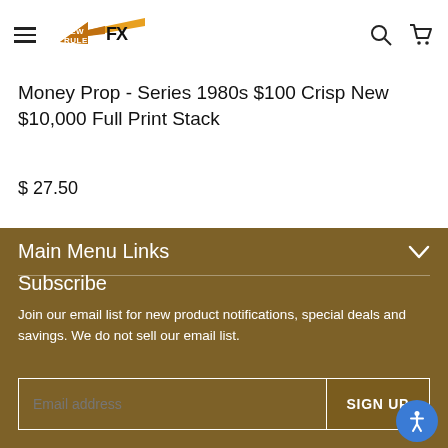New Rule FX — Navigation header with hamburger menu, logo, search and cart icons
Money Prop - Series 1980s $100 Crisp New $10,000 Full Print Stack
$ 27.50
Main Menu Links
Subscribe
Join our email list for new product notifications, special deals and savings. We do not sell our email list.
Email address — SIGN UP